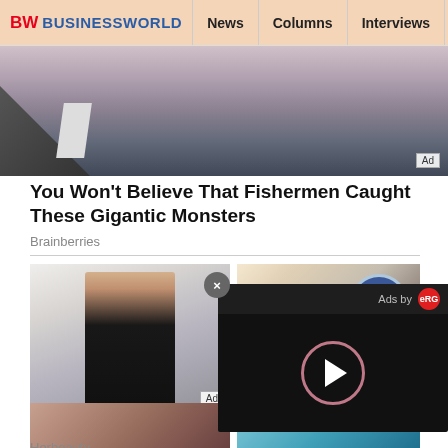BW BUSINESSWORLD | News | Columns | Interviews | BW
[Figure (photo): Top banner advertisement image showing underwater/ocean scene with fish catches, with Ad badge in bottom-right corner]
You Won't Believe That Fishermen Caught These Gigantic Monsters
Brainberries
[Figure (photo): Left photo of a fit woman in black athletic wear flexing, with Ad badge]
[Figure (photo): Right photo of a panel discussion at an event with Gandhi portrait in background]
Getting In Shape? This Is The Most Overlooked Advice
Herbeauty
Gender equality is powerful... Arif Mo...
[Figure (screenshot): Video ad popup overlay with X close button, Ads by eRG branding, and circular play button on dark background]
[Figure (photo): Bottom left thumbnail - partial image of a person]
[Figure (photo): Bottom right thumbnail - partial colorful image]